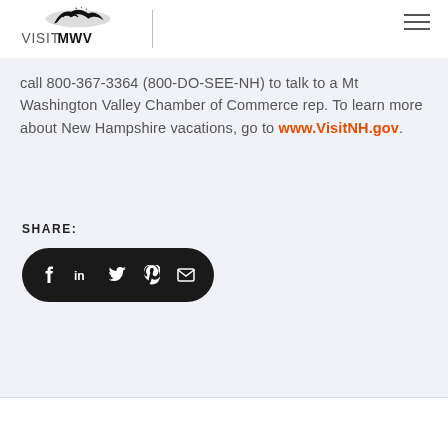VISITMWV
call 800-367-3364 (800-DO-SEE-NH) to talk to a Mt Washington Valley Chamber of Commerce rep. To learn more about New Hampshire vacations, go to www.VisitNH.gov.
SHARE:
[Figure (other): Social share buttons bar with icons for Facebook, LinkedIn, Twitter, Pinterest, and Email on a black rounded rectangle background]